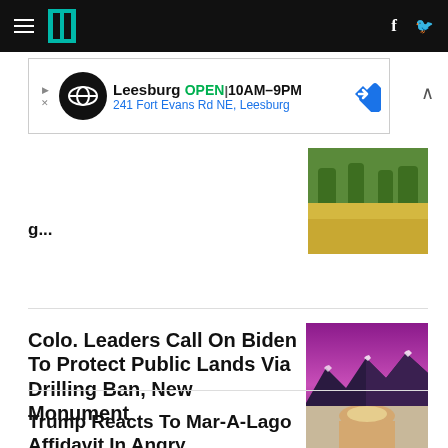HuffPost navigation
[Figure (other): HuffPost logo - teal double-bar icon on black navigation bar]
[Figure (other): Advertisement banner: Leesburg OPEN 10AM-9PM, 241 Fort Evans Rd NE, Leesburg]
[Figure (photo): Outdoor photo partially visible - appears to show a building with palm trees and flowers]
Colo. Leaders Call On Biden To Protect Public Lands Via Drilling Ban, New Monument
[Figure (photo): Mountain landscape at sunset/dusk with purple and pink sky and snow-capped peaks]
Trump Reacts To Mar-A-Lago Affidavit In Angry